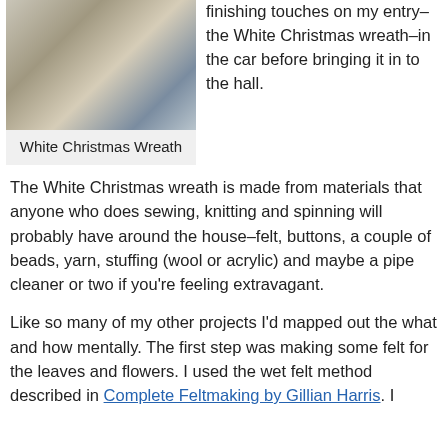[Figure (photo): A wreath made of white and light grey felt flowers and embellishments arranged on a wooden surface, photographed from above.]
White Christmas Wreath
finishing touches on my entry–the White Christmas wreath–in the car before bringing it in to the hall.
The White Christmas wreath is made from materials that anyone who does sewing, knitting and spinning will probably have around the house–felt, buttons, a couple of beads, yarn, stuffing (wool or acrylic) and maybe a pipe cleaner or two if you're feeling extravagant.
Like so many of my other projects I'd mapped out the what and how mentally. The first step was making some felt for the leaves and flowers. I used the wet felt method described in Complete Feltmaking by Gillian Harris. I